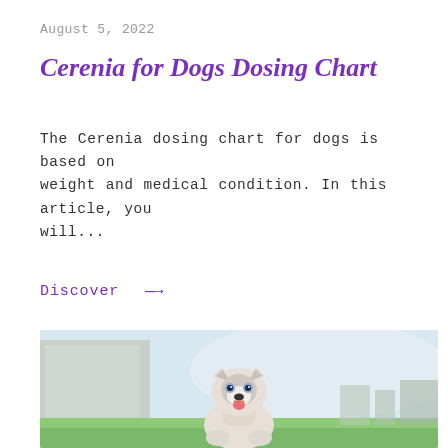August 5, 2022
Cerenia for Dogs Dosing Chart
The Cerenia dosing chart for dogs is based on weight and medical condition. In this article, you will...
Discover →
[Figure (photo): A white/grey Husky puppy sitting on green grass outdoors, looking at the camera with its tongue out, bright sky and building in background]